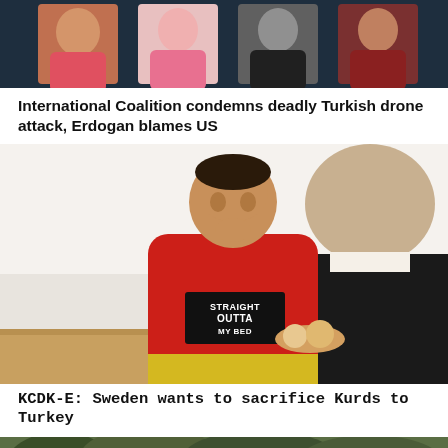[Figure (photo): Partial top image showing four portrait thumbnail photos of people on a dark background]
International Coalition condemns deadly Turkish drone attack, Erdogan blames US
[Figure (photo): A man in a red hoodie reading 'STRAIGHT OUTTA MY BED' sitting at a table across from another person seen from behind in a black suit, in a bright room]
KCDK-E: Sweden wants to sacrifice Kurds to Turkey
[Figure (photo): Partial bottom image showing outdoor scene with greenery]